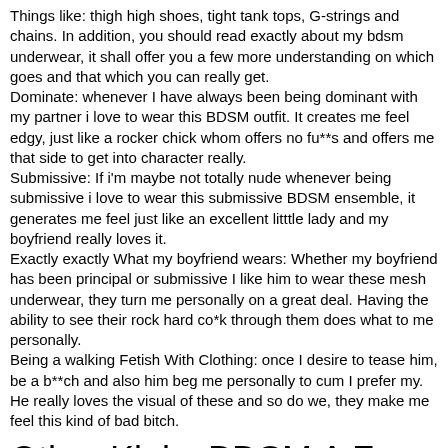Things like: thigh high shoes, tight tank tops, G-strings and chains. In addition, you should read exactly about my bdsm underwear, it shall offer you a few more understanding on which goes and that which you can really get.
Dominate: whenever I have always been being dominant with my partner i love to wear this BDSM outfit. It creates me feel edgy, just like a rocker chick whom offers no fu**s and offers me that side to get into character really.
Submissive: If i'm maybe not totally nude whenever being submissive i love to wear this submissive BDSM ensemble, it generates me feel just like an excellent litttle lady and my boyfriend really loves it.
Exactly exactly What my boyfriend wears: Whether my boyfriend has been principal or submissive I like him to wear these mesh underwear, they turn me personally on a great deal. Having the ability to see their rock hard co*k through them does what to me personally.
Being a walking Fetish With Clothing: once I desire to tease him, be a b**ch and also him beg me personally to cum I prefer my. He really loves the visual of these and so do we, they make me feel this kind of bad bitch.
Other Kinky BDSM A Few Ideas. Ball Gagging, Choking & Harsh